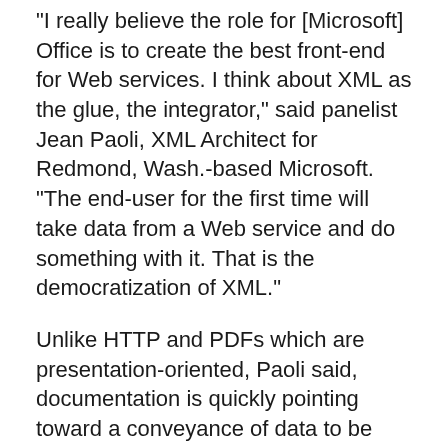“I really believe the role for [Microsoft] Office is to create the best front-end for Web services. I think about XML as the glue, the integrator,” said panelist Jean Paoli, XML Architect for Redmond, Wash.-based Microsoft. “The end-user for the first time will take data from a Web service and do something with it. That is the democratization of XML.”
Unlike HTTP and PDFs which are presentation-oriented, Paoli said, documentation is quickly pointing toward a conveyance of data to be shared among multiple business processes and infrastructure pieces.
Speaking on behalf of his industrial supply organization, George Rimnac, vice-president and chief technologist at W.W. Grainger Inc., said customers’ needs for catalog information – is a product available? at what price? where is its location? – demand around-the-clock automated pricing, online and deal with...